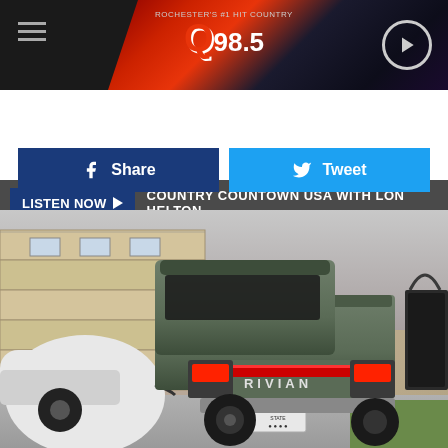[Figure (screenshot): Q98.5 radio station website header with red/dark background, hamburger menu, Q98.5 logo, and circular play button]
LISTEN NOW ▶  COUNTRY COUNTOWN USA WITH LON HELTON
f  Share
🐦  Tweet
[Figure (photo): Rear view of a Rivian electric pickup truck (grey/green) parked in a suburban driveway next to a white Tesla, with a house and garage in the background]